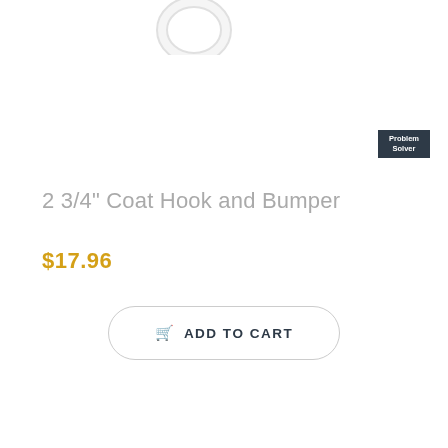[Figure (photo): Partial product image showing a round coat hook/ring hardware piece, white or chrome colored, cropped at top of page]
[Figure (logo): Problem Solver badge — dark navy/charcoal rectangle with white text reading 'Problem Solver' in two lines]
2 3/4" Coat Hook and Bumper
$17.96
ADD TO CART